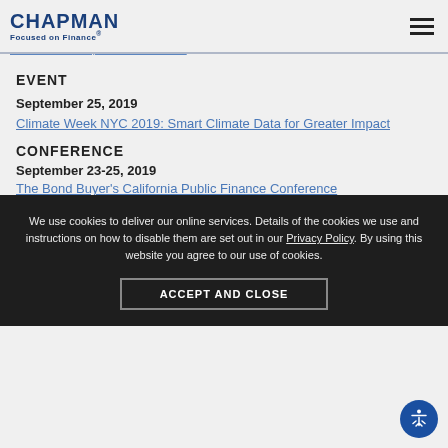CHAPMAN Focused on Finance®
Because the Form of a Security Agreement May Incorporate a Collateral Description, U.C.C. Does Not Require That It Sufficiently Indicate the Collateral for Purposes of Perfection
EVENT
September 25, 2019
Climate Week NYC 2019: Smart Climate Data for Greater Impact
CONFERENCE
September 23-25, 2019
The Bond Buyer's California Public Finance Conference
CONFERENCE
September 23-24, 2019
We use cookies to deliver our online services. Details of the cookies we use and instructions on how to disable them are set out in our Privacy Policy. By using this website you agree to our use of cookies.
ACCEPT AND CLOSE